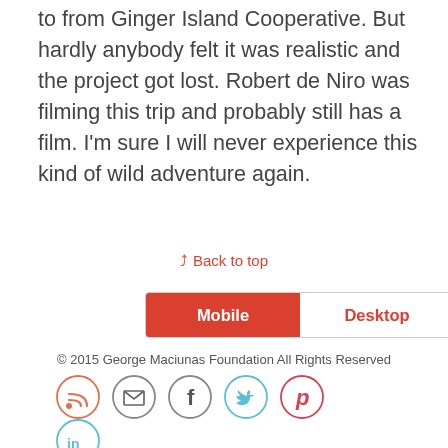to from Ginger Island Cooperative. But hardly anybody felt it was realistic and the project got lost. Robert de Niro was filming this trip and probably still has a film. I'm sure I will never experience this kind of wild adventure again.
↑ Back to top
Mobile | Desktop
© 2015 George Maciunas Foundation All Rights Reserved
[Figure (other): Social media icons: RSS, Email, Facebook, Twitter, Pinterest, LinkedIn — circular icon buttons]